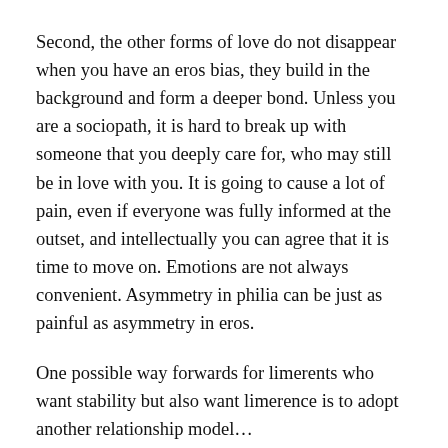Second, the other forms of love do not disappear when you have an eros bias, they build in the background and form a deeper bond. Unless you are a sociopath, it is hard to break up with someone that you deeply care for, who may still be in love with you. It is going to cause a lot of pain, even if everyone was fully informed at the outset, and intellectually you can agree that it is time to move on. Emotions are not always convenient. Asymmetry in philia can be just as painful as asymmetry in eros.
One possible way forwards for limerents who want stability but also want limerence is to adopt another relationship model…